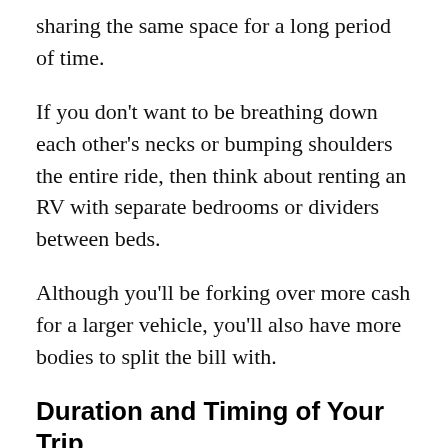sharing the same space for a long period of time.
If you don't want to be breathing down each other's necks or bumping shoulders the entire ride, then think about renting an RV with separate bedrooms or dividers between beds.
Although you'll be forking over more cash for a larger vehicle, you'll also have more bodies to split the bill with.
Duration and Timing of Your Trip